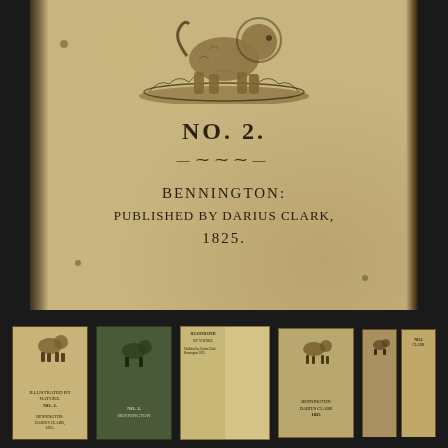[Figure (photo): Photograph of the cover of an old pamphlet or booklet, showing an aged tan/brown paper cover with a woodcut illustration of an animal (likely a dog or lion) at the top, followed by text reading 'NO. 2.' with an ornamental divider, then 'BENNINGTON:' and 'PUBLISHED BY DARIUS CLARK, 1825.' The cover is worn and damaged at the edges.]
[Figure (photo): Row of five thumbnail photographs showing different views and copies of the same historic 1825 Darius Clark booklet from Bennington, displayed on a dark background.]